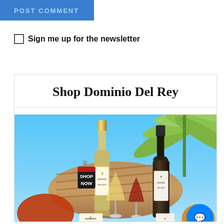[Figure (screenshot): Blue 'POST COMMENT' button in the top-left area]
Sign me up for the newsletter
Shop Dominio Del Rey
[Figure (photo): Advertisement image for Dominio Del Rey wine showing two wine bottles, wine glasses, palm leaves, a wicker hat, and a SHOP NOW price tag label, with a beach/tropical background. A blue Messenger chat button is visible in the bottom right.]